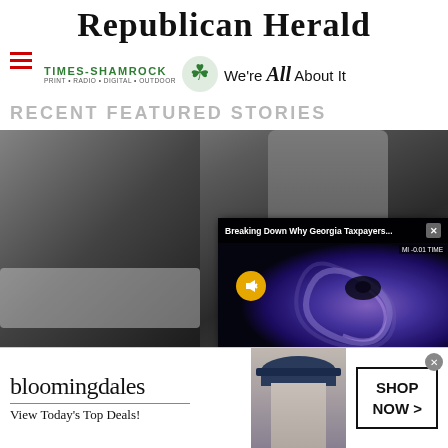Republican Herald
[Figure (logo): Times-Shamrock logo with shamrock icon and tagline 'We're All About It'. Subtext: PRINT · RADIO · DIGITAL · OUTDOOR]
RECENT FEATURED STORIES
[Figure (photo): Two people standing outside near a car. One wearing a dark leather jacket, the other wearing a striped knit hat. A video overlay popup appears in the lower right showing a swirling blue/purple image with text 'Breaking Down Why Georgia Taxpayers...' and a mute button icon. Ticker text visible: MI -0.01 TIME]
[Figure (photo): Bloomingdale's advertisement banner. Text: 'bloomingdales / View Today's Top Deals!' with a woman wearing a wide-brim hat and a 'SHOP NOW >' button.]